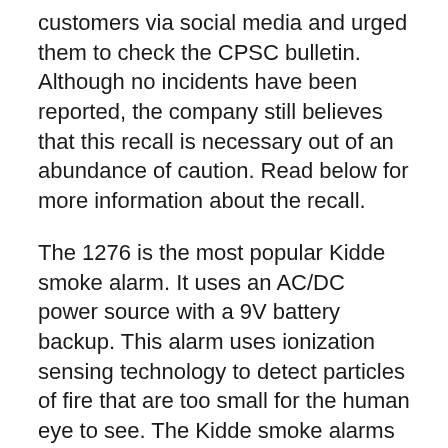customers via social media and urged them to check the CPSC bulletin. Although no incidents have been reported, the company still believes that this recall is necessary out of an abundance of caution. Read below for more information about the recall.
The 1276 is the most popular Kidde smoke alarm. It uses an AC/DC power source with a 9V battery backup. This alarm uses ionization sensing technology to detect particles of fire that are too small for the human eye to see. The Kidde smoke alarms have a 10-year limited warranty and are UL-listed. This product is a great choice from Kidde, a global leader in fire safety equipment.